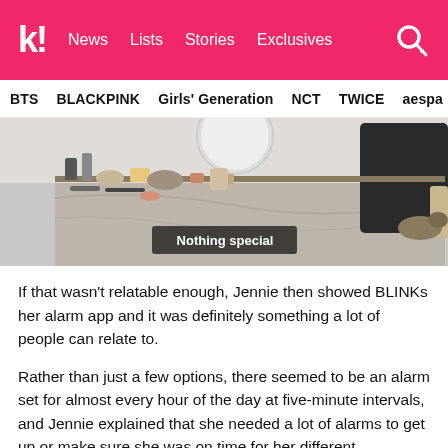k! News Lists Stories Exclusives
BTS BLACKPINK Girls' Generation NCT TWICE aespa
[Figure (photo): Screenshot from a video showing a dressing table with makeup products scattered on it, with Korean subtitle 'Nothing special' displayed at the bottom]
If that wasn't relatable enough, Jennie then showed BLINKs her alarm app and it was definitely something a lot of people can relate to.
Rather than just a few options, there seemed to be an alarm set for almost every hour of the day at five-minute intervals, and Jennie explained that she needed a lot of alarms to get up or make sure she was on time for her different